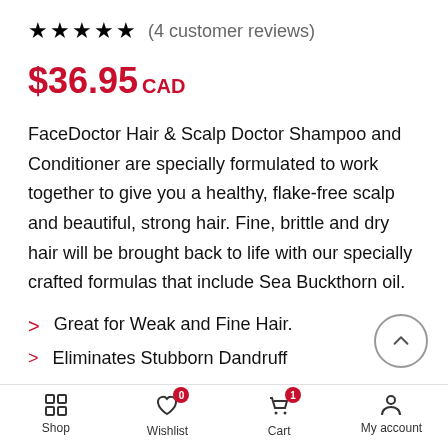★★★★★  (4 customer reviews)
$36.95 CAD
FaceDoctor Hair & Scalp Doctor Shampoo and Conditioner are specially formulated to work together to give you a healthy, flake-free scalp and beautiful, strong hair. Fine, brittle and dry hair will be brought back to life with our specially crafted formulas that include Sea Buckthorn oil.
Great for Weak and Fine Hair.
Eliminates Stubborn Dandruff
Shop  Wishlist 0  Cart 1  My account